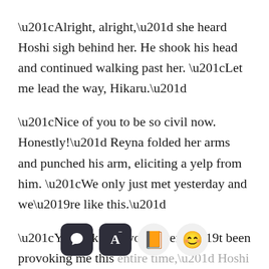“Alright, alright,” she heard Hoshi sigh behind her. He shook his head and continued walking past her. “Let me lead the way, Hikaru.”
“Nice of you to be so civil now. Honestly!” Reyna folded her arms and punched his arm, eliciting a yelp from him. “We only just met yesterday and we’re like this.”
“You talk as if you haven’t been provoking me this entire time,” Hoshi said. “You’re the culprit here,
[Figure (screenshot): Reading app toolbar with four icons: chat/comment (dark hexagon), font size decrease (dark hexagon with A-), book (light circle with orange book emoji), and face/mask (light circle with smiling emoji)]